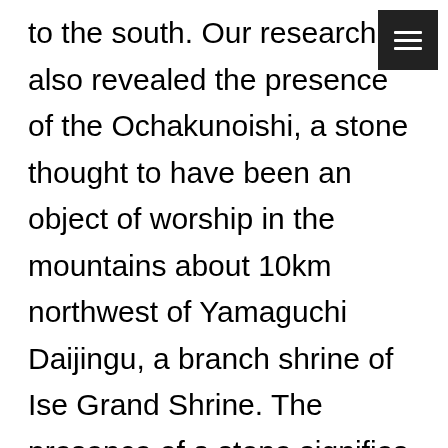to the south. Our research also revealed the presence of the Ochakunoishi, a stone thought to have been an object of worship in the mountains about 10km northwest of Yamaguchi Daijingu, a branch shrine of Ise Grand Shrine. The presence of a stone signifies the presence of a spirit or serves as a mapping object, and can therefore raise the question of how it relates to the spatial structures of distant cities and the formation of transport and communication links. We have edited our research into these stones to compile the “Park Atlas,” a data visualization of the PPP.